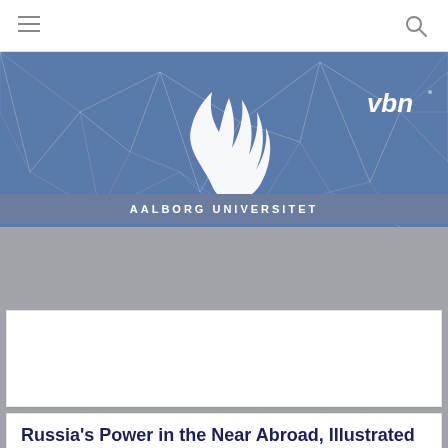Navigation bar with menu and search icons
[Figure (logo): Aalborg Universitet (AAU) header banner with geometric polygon background pattern in blue, AAU flame logo in white, and VBN text in upper right]
AALBORG UNIVERSITET
[Figure (photo): Gray placeholder image area]
Russia's Power in the Near Abroad, Illustrated in the Case of